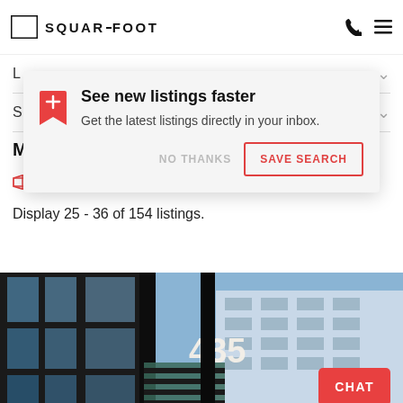SQUAREFOOT
See new listings faster
Get the latest listings directly in your inbox.
NO THANKS    SAVE SEARCH
SHOW MAP
Display 25 - 36 of 154 listings.
[Figure (photo): Building exterior photo showing a modern office building with glass facade and the number 435 visible on a sign]
CHAT